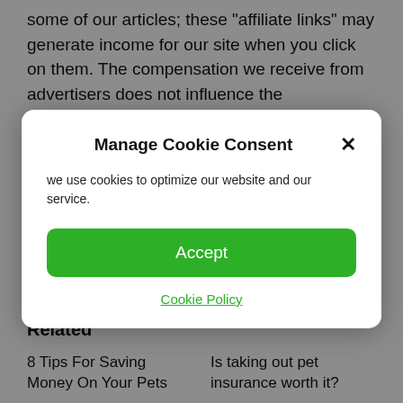some of our articles; these “affiliate links” may generate income for our site when you click on them. The compensation we receive from advertisers does not influence the recommendations or advice our editorial team provides in our articles or otherwise impact any of the editorial content on Forbes Advisor
[Figure (screenshot): Cookie consent modal dialog with title 'Manage Cookie Consent', close button (X), body text 'we use cookies to optimize our website and our service.', green Accept button, and Cookie Policy link]
affiliate links for
Related
8 Tips For Saving Money On Your Pets
Is taking out pet insurance worth it?